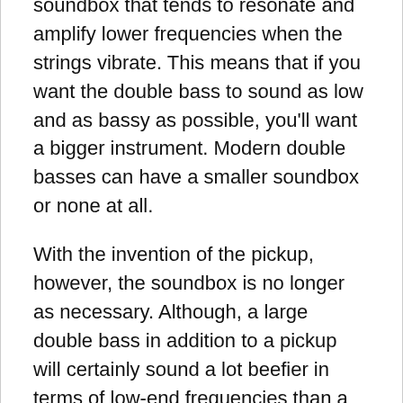soundbox that tends to resonate and amplify lower frequencies when the strings vibrate. This means that if you want the double bass to sound as low and as bassy as possible, you'll want a bigger instrument. Modern double basses can have a smaller soundbox or none at all.
With the invention of the pickup, however, the soundbox is no longer as necessary. Although, a large double bass in addition to a pickup will certainly sound a lot beefier in terms of low-end frequencies than a smaller double bass with a pick-up.
The standard electric bass, like the guitar, comes either electric or acoustic. The electric form is much thinner than the double bass, making it lighter and easier to carry around on stage. Its shape comes from the electric and acoustic guitar; it's just a little longer.